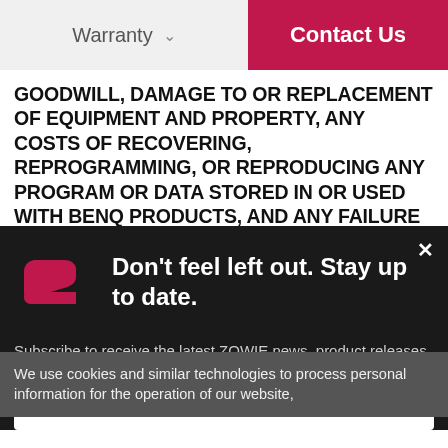Warranty  Contact Us
GOODWILL, DAMAGE TO OR REPLACEMENT OF EQUIPMENT AND PROPERTY, ANY COSTS OF RECOVERING, REPROGRAMMING, OR REPRODUCING ANY PROGRAM OR DATA STORED IN OR USED WITH BENQ PRODUCTS, AND ANY FAILURE TO MAINTAIN THE CONFIDENTIALITY OF DATA STORED ON THE PRODUCT.
We use cookies and similar technologies to process personal information for the operation of our website,
[Figure (logo): ZOWIE logo — red stylized Z/arrow shape on dark background]
Don't feel left out. Stay up to date.
Subscribe to receive the latest ZOWIE news, product releases, and more!